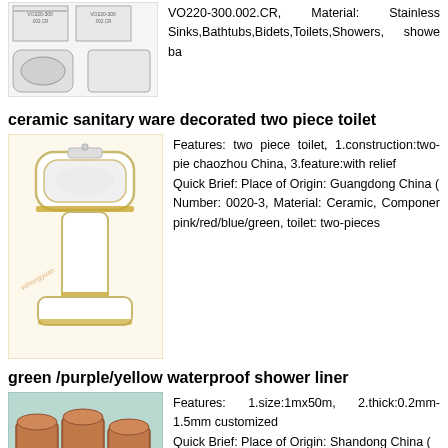[Figure (photo): Product thumbnail images of VO220-300.002.CR stainless item with technical drawings]
VO220-300.002.CR, Material: Stainless Sinks,Bathtubs,Bidets,Toilets,Showers, showe ba
ceramic sanitary ware decorated two piece toilet
[Figure (photo): White and gold ceramic pedestal sink/toilet, two-piece toilet product photo on cream background]
Features: two piece toilet, 1.construction:two-pie chaozhou China, 3.feature:with relief Quick Brief: Place of Origin: Guangdong China ( Number: 0020-3, Material: Ceramic, Componer pink/red/blue/green, toilet: two-pieces
green /purple/yellow waterproof shower liner
[Figure (photo): Green/teal colored shower liner rolls stacked, product photo with wihongyuan.en.alibaba.com watermark]
Features: 1.size:1mx50m, 2.thick:0.2mm-1.5mm customized Quick Brief: Place of Origin: Shandong China ( Model Number: Excaid-V, Material: PP,PE, color 0.2mm-1.5mm, breaking strength: 1084psi, se 500g/m2